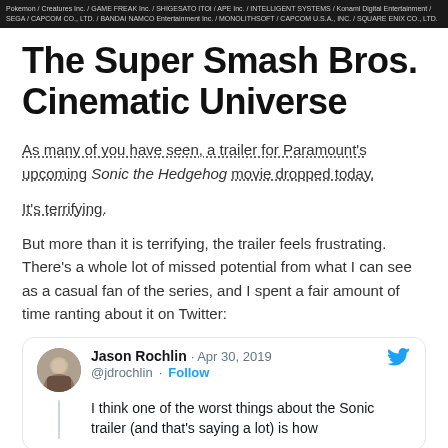Pokemon / Creatures Inc. / GAME FREAK Inc. / SHIGESATO ITOI / APE Inc. / INTELLIGENT SYSTEMS / Konami Digital Entertainment / SEGA / CAPCOM CO., LTD. / BANDAI NAMCO Entertainment Inc. / MONOLITHSOFT / CAPCOM U.S.A., INC. / SQUARE ENIX CO., LTD.
The Super Smash Bros. Cinematic Universe
As many of you have seen, a trailer for Paramount's upcoming Sonic the Hedgehog movie dropped today.
It's terrifying.
But more than it is terrifying, the trailer feels frustrating. There's a whole lot of missed potential from what I can see as a casual fan of the series, and I spent a fair amount of time ranting about it on Twitter:
[Figure (screenshot): Tweet from Jason Rochlin (@jdrochlin) dated Apr 30, 2019 with a Follow button and Twitter bird icon. Tweet text begins: 'I think one of the worst things about the Sonic trailer (and that's saying a lot) is how']